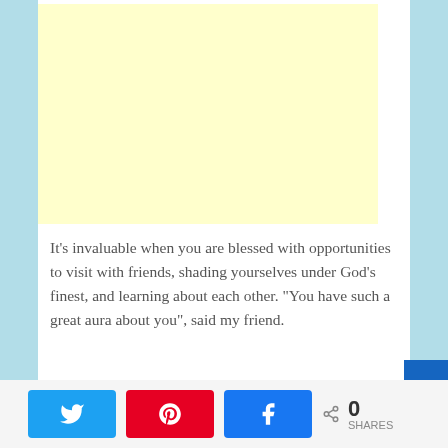[Figure (other): Light yellow advertisement placeholder box]
It’s invaluable when you are blessed with opportunities to visit with friends, shading yourselves under God’s finest, and learning about each other. “You have such a great aura about you”, said my friend.